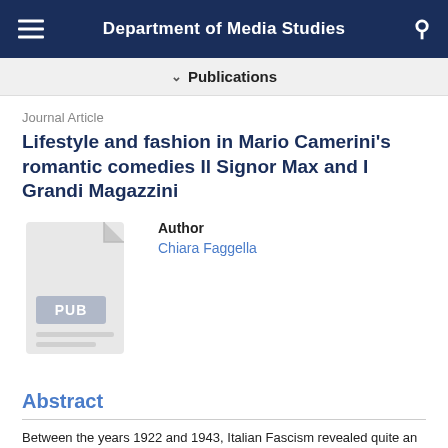Department of Media Studies
Publications
Journal Article
Lifestyle and fashion in Mario Camerini's romantic comedies Il Signor Max and I Grandi Magazzini
Author
Chiara Faggella
[Figure (illustration): Document thumbnail icon showing a generic publication file with 'PUB' label in grey]
Abstract
Between the years 1922 and 1943, Italian Fascism revealed quite an ambivalent attitude towards lifestyle. While the regime tried to impose standards of nationalistic moderation, popular entertainment of the time